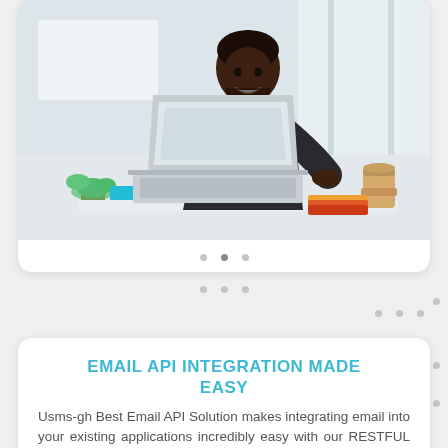[Figure (photo): A smiling Black man in a dark blazer working on a silver laptop at a white desk, with a takeaway coffee cup and notebooks visible, in a bright office environment.]
EMAIL API INTEGRATION MADE EASY
Usms-gh Best Email API Solution makes integrating email into your existing applications incredibly easy with our RESTFUL API, SMTP